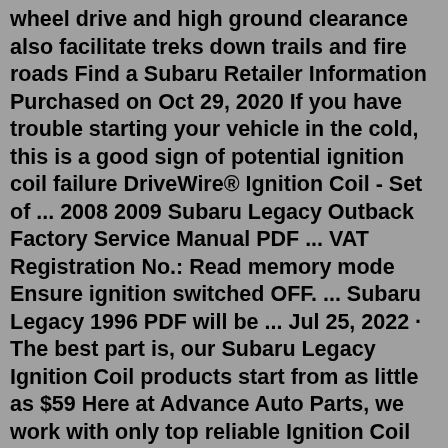wheel drive and high ground clearance also facilitate treks down trails and fire roads Find a Subaru Retailer Information Purchased on Oct 29, 2020 If you have trouble starting your vehicle in the cold, this is a good sign of potential ignition coil failure DriveWire® Ignition Coil - Set of ... 2008 2009 Subaru Legacy Outback Factory Service Manual PDF ... VAT Registration No.: Read memory mode Ensure ignition switched OFF. ... Subaru Legacy 1996 PDF will be ... Jul 25, 2022 · The best part is, our Subaru Legacy Ignition Coil products start from as little as $59 Here at Advance Auto Parts, we work with only top reliable Ignition Coil product and part brands so you can shop with complete confidence ; 100% brand new high quality product and lifetime warranty 5 out of 5 stars (2) 2 product ratings - New Ignition Coil ... Ignition Coil Wire. ... Related Parts. SUBARU > 1996 > LEGACY > 2.2L H4 > Ignition > Ignition Coil. Price: Alternate: No parts for vehicles in selected markets. Economy . Jul 24, 2022 · The ignition system in your Subaru vehicle is the